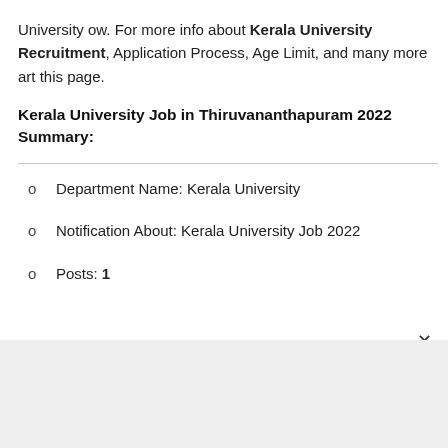University ow. For more info about Kerala University Recruitment, Application Process, Age Limit, and many more art this page.
Kerala University Job in Thiruvananthapuram 2022 Summary:
Department Name: Kerala University
Notification About: Kerala University Job 2022
Posts: 1